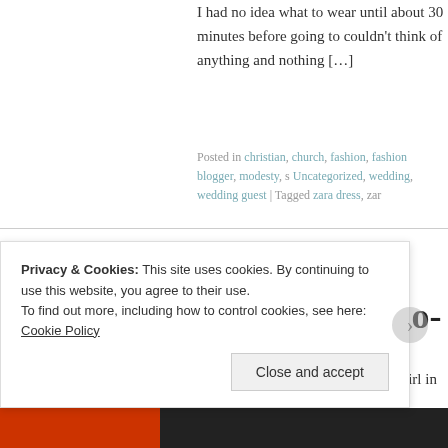I had no idea what to wear until about 30 minutes before going to couldn't think of anything and nothing […]
Posted in christian, church, fashion, fashion blogger, modesty, s Uncategorized, wedding, wedding guest | Tagged zara dress, zar
What's trending? Senorita
POSTED ON JUNE 9, 2016
Ever since I was a young teenage girl in Ghana, I remember alway summer vacations. I would write a list of things I needed to get w
Privacy & Cookies: This site uses cookies. By continuing to use this website, you agree to their use.
To find out more, including how to control cookies, see here: Cookie Policy
Close and accept